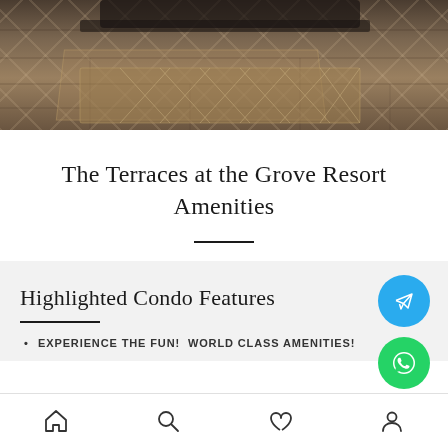[Figure (photo): Interior room photo showing hardwood floor, area rug with geometric pattern, and dark furniture at the top of the page]
The Terraces at the Grove Resort Amenities
Highlighted Condo Features
EXPERIENCE THE FUN! WORLD CLASS AMENITIES!
[Figure (illustration): Telegram messenger floating action button (blue circle with paper plane icon)]
[Figure (illustration): WhatsApp floating action button (green circle with phone/chat icon)]
Home | Search | Favorites | Profile navigation bar